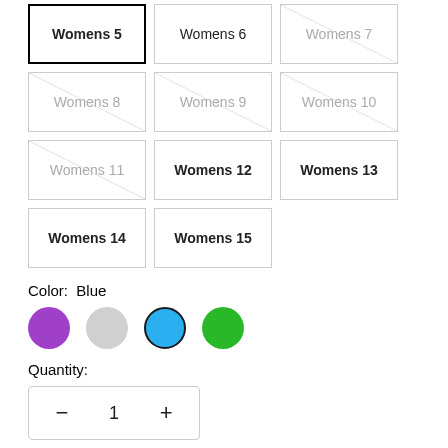Womens 5 (selected), Womens 6, Womens 7 (unavailable), Womens 8 (unavailable), Womens 9 (unavailable), Womens 10 (unavailable), Womens 11 (unavailable), Womens 12, Womens 13, Womens 14, Womens 15
Color: Blue
[Figure (infographic): Four color swatches: purple, gray, blue (selected with dark border), green]
Quantity:
[Figure (infographic): Quantity selector with minus button, value 1, and plus button]
Only 6 left! 9 people recently purchased this and 5 have it in